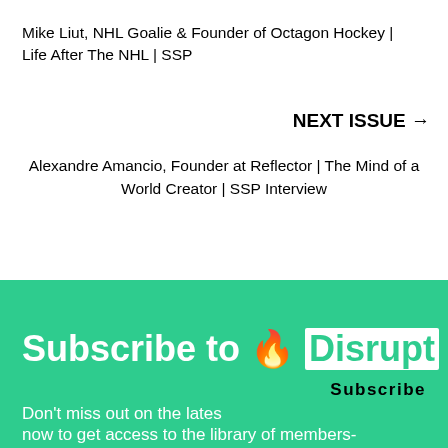Mike Liut, NHL Goalie & Founder of Octagon Hockey | Life After The NHL | SSP
NEXT ISSUE →
Alexandre Amancio, Founder at Reflector | The Mind of a World Creator | SSP Interview
Subscribe to 🔥 Disrupt
Subscribe
Don't miss out on the lates
now to get access to the library of members-